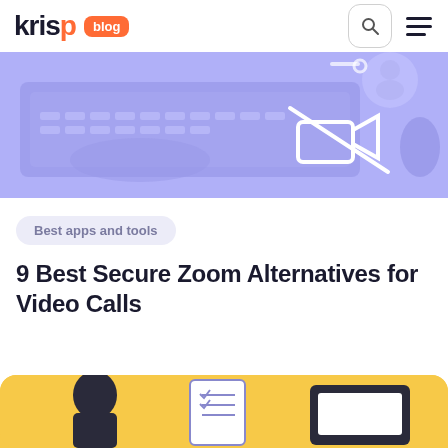krisp blog
[Figure (photo): Purple-tinted photo of a person typing on a laptop, with a camera-off icon overlay on the right side]
Best apps and tools
9 Best Secure Zoom Alternatives for Video Calls
[Figure (illustration): Yellow background illustration showing a person with a checklist and a monitor, partially visible at bottom of page]